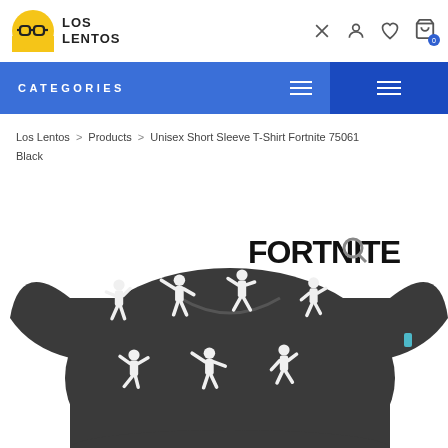[Figure (logo): Los Lentos logo: yellow circle with glasses icon and text LOS LENTOS]
Los Lentos store header with navigation icons: search, account, wishlist, cart (0)
CATEGORIES
Los Lentos > Products > Unisex Short Sleeve T-Shirt Fortnite 75061 Black
[Figure (photo): Dark grey Fortnite t-shirt with white silhouettes of dancing Fortnite characters, FORTNITE logo in top right, small teal tag on right sleeve]